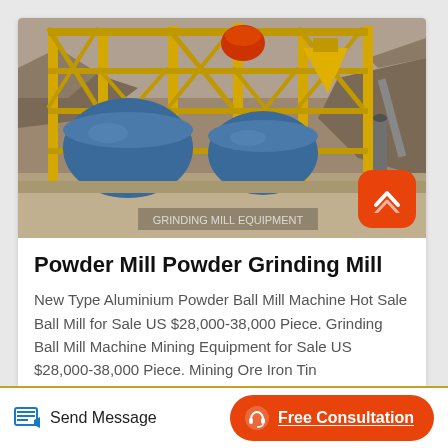[Figure (photo): Industrial mining grinding ball mill equipment with yellow steel frame structure, blue cylindrical mills, conveyor belts and machinery at an outdoor mining site with rocky terrain in background]
Powder Mill Powder Grinding Mill
New Type Aluminium Powder Ball Mill Machine Hot Sale Ball Mill for Sale US $28,000-38,000 Piece. Grinding Ball Mill Machine Mining Equipment for Sale US $28,000-38,000 Piece. Mining Ore Iron Tin